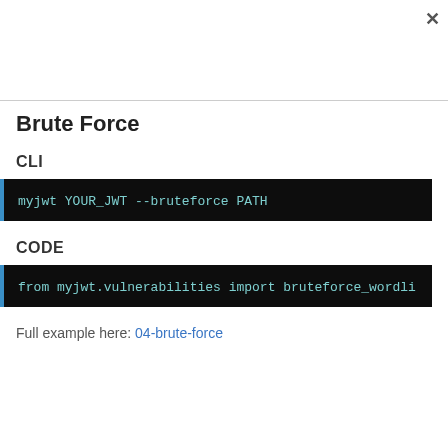[Figure (screenshot): Top navigation bar area with close (X) button on the right]
Brute Force
CLI
myjwt YOUR_JWT --bruteforce PATH
CODE
from myjwt.vulnerabilities import bruteforce_wordli
Full example here: 04-brute-force